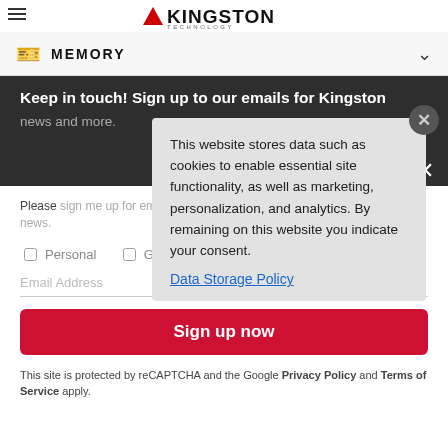[Figure (logo): Kingston Technology logo with red K icon and bold text]
MEMORY
Keep in touch! Sign up to our emails for Kingston news and more.
Please sign me up for emails from Kingston about its products, services and news.
Personal
Gaming
Commercial
Email Address
Sign up now
This site is protected by reCAPTCHA and the Google Privacy Policy and Terms of Service apply.
[Figure (screenshot): Cookie consent overlay popup with text about data storage]
This website stores data such as cookies to enable essential site functionality, as well as marketing, personalization, and analytics. By remaining on this website you indicate your consent.
Data Storage Policy